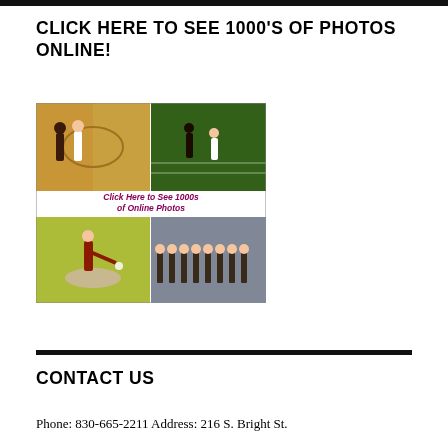CLICK HERE TO SEE 1000'S OF PHOTOS ONLINE!
[Figure (photo): Collage of sports photos with text overlay 'Click Here to See 1000s of Online Photos' in magenta. Shows female basketball players, soccer/track athletes, a baseball pitcher, and a team lineup.]
CONTACT US
Phone: 830-665-2211 Address: 216 S. Bright St.